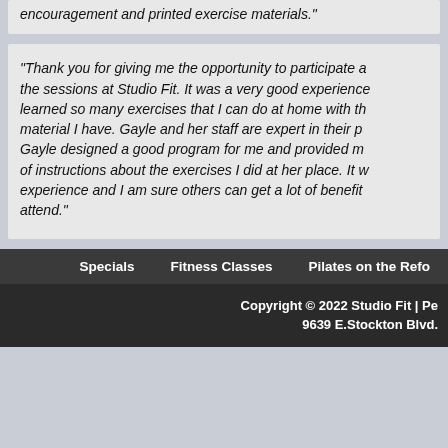encouragement and printed exercise materials."
“Thank you for giving me the opportunity to participate a the sessions at Studio Fit. It was a very good experience learned so many exercises that I can do at home with th material I have. Gayle and her staff are expert in their p Gayle designed a good program for me and provided m of instructions about the exercises I did at her place. It w experience and I am sure others can get a lot of benefit attend."
Specials   Fitness Classes   Pilates on the Refo
Copyright © 2022 Studio Fit | Pe 9639 E.Stockton Blvd.